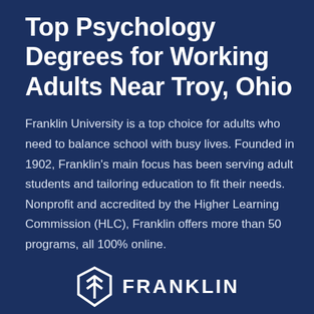Top Psychology Degrees for Working Adults Near Troy, Ohio
Franklin University is a top choice for adults who need to balance school with busy lives. Founded in 1902, Franklin's main focus has been serving adult students and tailoring education to fit their needs. Nonprofit and accredited by the Higher Learning Commission (HLC), Franklin offers more than 50 programs, all 100% online.
[Figure (logo): Franklin University logo — geometric hexagonal shield icon in white with the text FRANKLIN to its right]